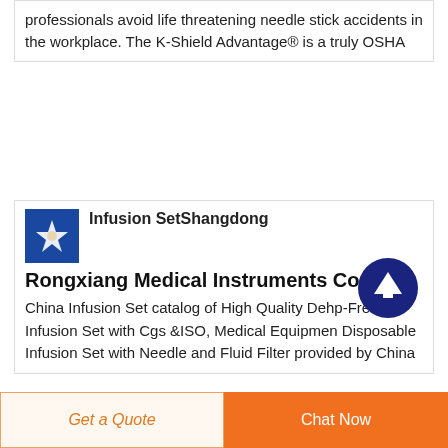professionals avoid life threatening needle stick accidents in the workplace. The K-Shield Advantage® is a truly OSHA
Infusion Set Shangdong Rongxiang Medical Instruments Co
China Infusion Set catalog of High Quality Dehp-Free Infusion Set with Cgs &ISO, Medical Equipmen Disposable Infusion Set with Needle and Fluid Filter provided by China
[Figure (logo): Blue square logo with a white medical/infusion set icon (cross/star shape)]
[Figure (illustration): Dark navy circular button with white upward arrow (scroll to top button)]
Get a Quote
Chat Now